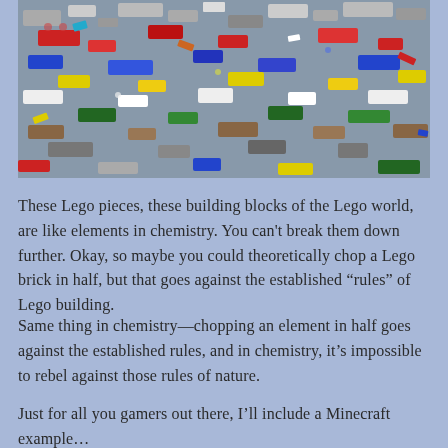[Figure (photo): A large pile of colorful assorted Lego bricks in various colors including red, blue, yellow, white, gray, green, and brown, scattered randomly filling the entire frame.]
These Lego pieces, these building blocks of the Lego world, are like elements in chemistry. You can't break them down further. Okay, so maybe you could theoretically chop a Lego brick in half, but that goes against the established “rules” of Lego building.
Same thing in chemistry—chopping an element in half goes against the established rules, and in chemistry, it’s impossible to rebel against those rules of nature.
Just for all you gamers out there, I’ll include a Minecraft example…